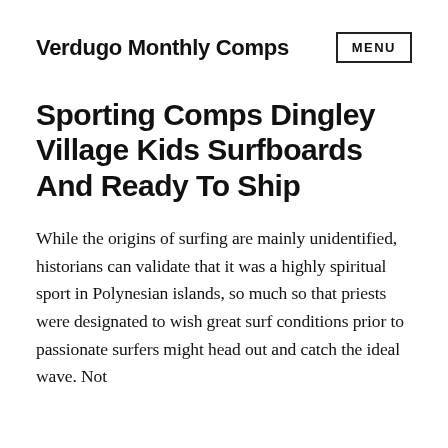Verdugo Monthly Comps  MENU
Sporting Comps Dingley Village Kids Surfboards And Ready To Ship
While the origins of surfing are mainly unidentified, historians can validate that it was a highly spiritual sport in Polynesian islands, so much so that priests were designated to wish great surf conditions prior to passionate surfers might head out and catch the ideal wave. Not